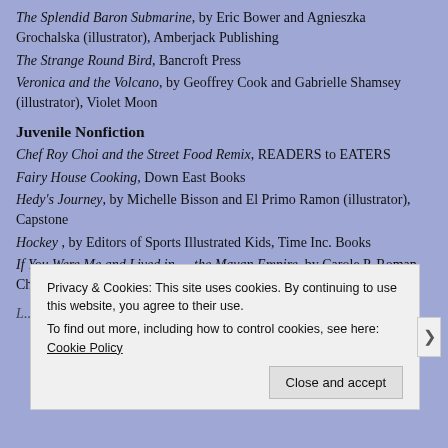The Splendid Baron Submarine, by Eric Bower and Agnieszka Grochalska (illustrator), Amberjack Publishing
The Strange Round Bird, Bancroft Press
Veronica and the Volcano, by Geoffrey Cook and Gabrielle Shamsey (illustrator), Violet Moon
Juvenile Nonfiction
Chef Roy Choi and the Street Food Remix, READERS to EATERS
Fairy House Cooking, Down East Books
Hedy's Journey, by Michelle Bisson and El Primo Ramon (illustrator), Capstone
Hockey , by Editors of Sports Illustrated Kids, Time Inc. Books
If You Were Me and Lived in … the Mayan Empire, by Carole P. Roman, Chelshire, Inc.
Privacy & Cookies: This site uses cookies. By continuing to use this website, you agree to their use. To find out more, including how to control cookies, see here: Cookie Policy